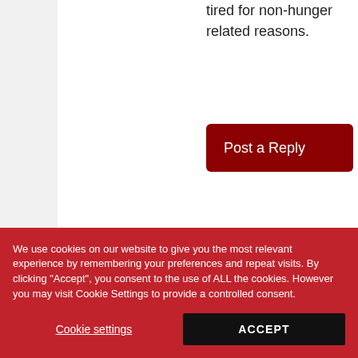when you're tired for non-hunger related reasons.
Post a Reply
Anonymous
THURSDAY
We use cookies on our website to give you the most relevant experience by remembering your preferences and repeat visits. By clicking "Accept", you consent to the use of ALL the cookies. However you may visit Cookie Settings to provide a controlled consent.
Cookie settings
ACCEPT